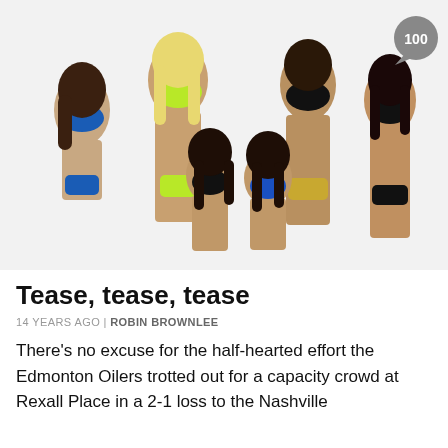[Figure (photo): Six women posing in bikinis against a white background. Four standing in the back row, two crouching in the front. From left: woman in blue bikini, woman in neon green bikini, two women crouching (black and blue bikinis), woman in black bikini top with gold bottoms, woman in black bikini. A speech bubble badge reading '100' appears in the upper right corner.]
Tease, tease, tease
14 YEARS AGO | ROBIN BROWNLEE
There’s no excuse for the half-hearted effort the Edmonton Oilers trotted out for a capacity crowd at Rexall Place in a 2-1 loss to the Nashville